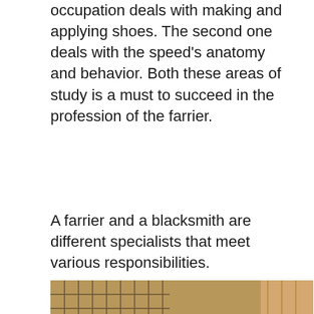occupation deals with making and applying shoes. The second one deals with the speed's anatomy and behavior. Both these areas of study is a must to succeed in the profession of the farrier.
A farrier and a blacksmith are different specialists that meet various responsibilities.
[Figure (photo): A farrier bending over and working on a horse's hoof in a stable. The horse is a chestnut brown color, tied up in what appears to be an indoor arena with an orange/terracotta floor. The farrier is wearing a dark navy shirt and has dark curly hair.]